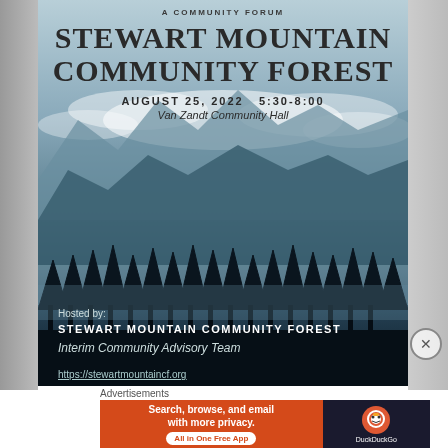A COMMUNITY FORUM
STEWART MOUNTAIN COMMUNITY FOREST
AUGUST 25, 2022   5:30-8:00
Van Zandt Community Hall
[Figure (photo): Misty mountain forest landscape with dark evergreen tree silhouettes in the foreground and layered mountain ridges with clouds in the background, blue-grey tones]
Hosted by:
STEWART MOUNTAIN COMMUNITY FOREST
Interim Community Advisory Team
https://stewartmountaincf.org
Advertisements
[Figure (screenshot): DuckDuckGo advertisement banner: orange section with text 'Search, browse, and email with more privacy. All in One Free App' and dark section with DuckDuckGo logo]